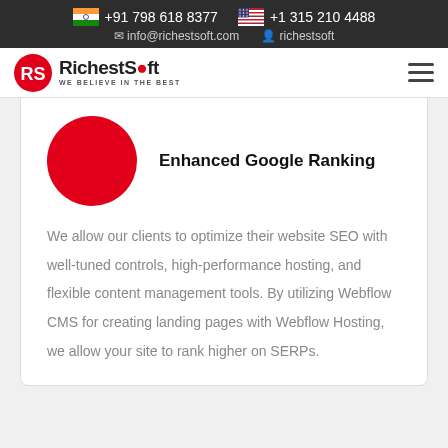+91 798 618 8377   +1 315 210 4488   info@richestsoft.com   richestsoft
[Figure (logo): RichestSoft logo with red RS icon and tagline WE BELIEVE IN THE BEST]
[Figure (illustration): Red circle icon representing Enhanced Google Ranking feature]
Enhanced Google Ranking
We allow our clients to optimize their website SEO with well-tuned controls, high-performance hosting, and flexible content management tools. By utilizing Webflow CMS for creating landing pages with Webflow Hosting, we allow your site to rank higher on SERPs.